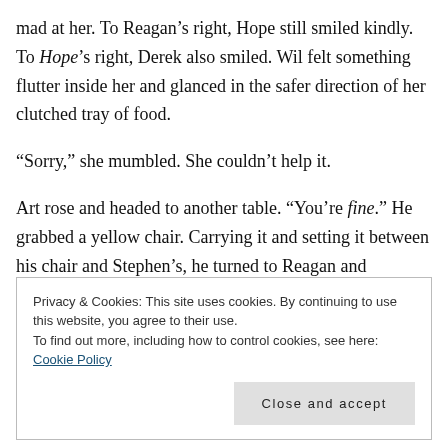mad at her. To Reagan's right, Hope still smiled kindly. To Hope's right, Derek also smiled. Wil felt something flutter inside her and glanced in the safer direction of her clutched tray of food.
“Sorry,” she mumbled. She couldn’t help it.
Art rose and headed to another table. “You’re fine.” He grabbed a yellow chair. Carrying it and setting it between his chair and Stephen’s, he turned to Reagan and mouthed, Knock it off! Reagan rolled her eyes in response and continued the
Privacy & Cookies: This site uses cookies. By continuing to use this website, you agree to their use.
To find out more, including how to control cookies, see here: Cookie Policy
[Close and accept]